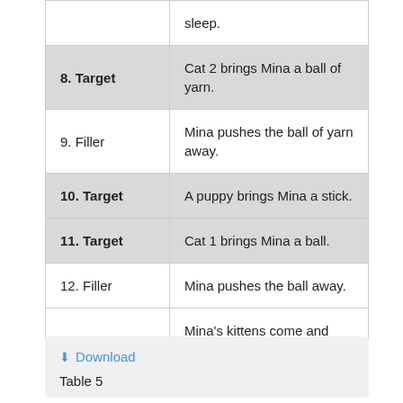| Type | Description |
| --- | --- |
|  | sleep. |
| 8. Target | Cat 2 brings Mina a ball of yarn. |
| 9. Filler | Mina pushes the ball of yarn away. |
| 10. Target | A puppy brings Mina a stick. |
| 11. Target | Cat 1 brings Mina a ball. |
| 12. Filler | Mina pushes the ball away. |
| 13. Final | Mina's kittens come and she finally plays with them, she is happy. |
Download
Table 5